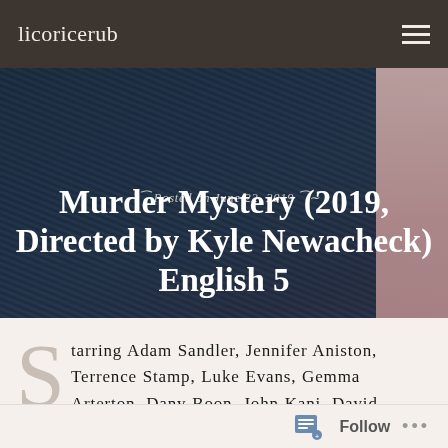licoricerub
[Figure (photo): Dark navy jacket texture with pink sleeve visible on right side, serving as hero image background]
Posted on June 22, 2019
Murder Mystery (2019, Directed by Kyle Newacheck) English 5
Starring Adam Sandler, Jennifer Aniston, Terrence Stamp, Luke Evans, Gemma Arterton, Dany Boon, John Kani, David Walliams, Luis Gerardo Mendez